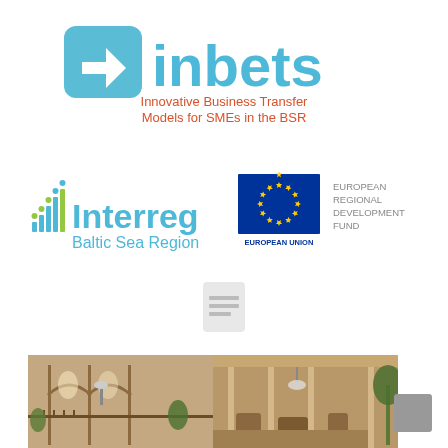[Figure (logo): inbets logo with arrow icon in blue/teal and 'inbets' text in blue, subtitle 'Innovative Business Transfer Models for SMEs in the BSR' in orange/red]
[Figure (logo): Interreg Baltic Sea Region logo with signal bars icon, alongside European Union flag and 'European Regional Development Fund' text]
[Figure (logo): Small document/page icon with horizontal lines, gray tones]
[Figure (photo): Interior photo of an elegant hotel/restaurant with arched architecture, plants, seating areas - two combined images]